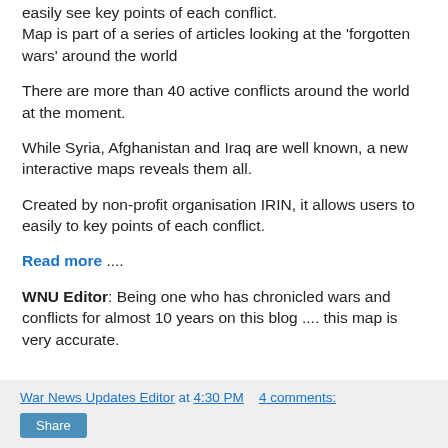easily see key points of each conflict.
Map is part of a series of articles looking at the 'forgotten wars' around the world
There are more than 40 active conflicts around the world at the moment.
While Syria, Afghanistan and Iraq are well known, a new interactive maps reveals them all.
Created by non-profit organisation IRIN, it allows users to easily to key points of each conflict.
Read more ....
WNU Editor: Being one who has chronicled wars and conflicts for almost 10 years on this blog .... this map is very accurate.
War News Updates Editor at 4:30 PM   4 comments:  Share